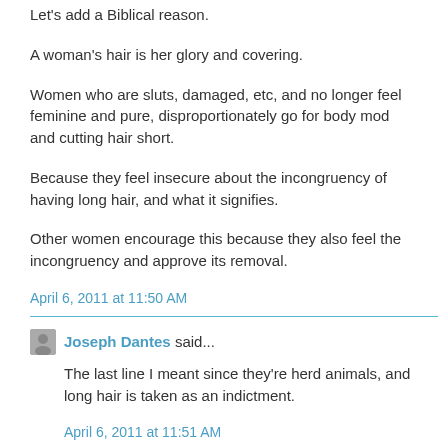Let's add a Biblical reason.
A woman's hair is her glory and covering.
Women who are sluts, damaged, etc, and no longer feel feminine and pure, disproportionately go for body mod and cutting hair short.
Because they feel insecure about the incongruency of having long hair, and what it signifies.
Other women encourage this because they also feel the incongruency and approve its removal.
April 6, 2011 at 11:50 AM
Joseph Dantes said...
The last line I meant since they're herd animals, and long hair is taken as an indictment.
April 6, 2011 at 11:51 AM